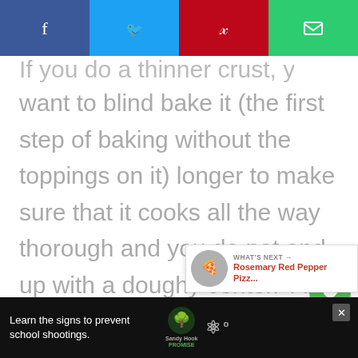[Figure (screenshot): Social share bar with Facebook (blue), Twitter (light blue), Pinterest (red), and Email (green) buttons]
If you do a thinner crust, you will want to blind bake it (the first step of baking without the toppings on it) longer to make sure that it cooks all the way thorough and you do not end up with a doughy center. And as always, the exact times will vary with your oven since each one
[Figure (screenshot): Floating sidebar with heart/save button (2.3K) and share button]
[Figure (screenshot): What's Next widget showing Rosemary Red Pepper Pizza link with thumbnail]
[Figure (screenshot): Advertisement banner: Learn the signs to prevent school shootings. Sandy Hook Promise logo.]